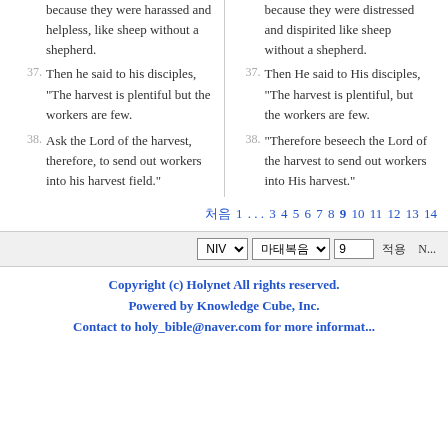because they were harassed and helpless, like sheep without a shepherd.
because they were distressed and dispirited like sheep without a shepherd.
37. Then he said to his disciples, "The harvest is plentiful but the workers are few.
37. Then He said to His disciples, "The harvest is plentiful, but the workers are few.
38. Ask the Lord of the harvest, therefore, to send out workers into his harvest field."
38. "Therefore beseech the Lord of the harvest to send out workers into His harvest."
처음 1 . . . 3 4 5 6 7 8 9 10 11 12 13 14
NIV | 마태복음 | 9 | 적용 | N...
Copyright (c) Holynet All rights reserved. Powered by Knowledge Cube, Inc. Contact to holy_bible@naver.com for more information.